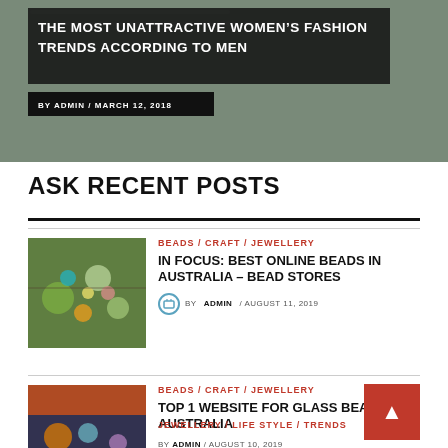[Figure (photo): Hero banner with dark overlay text on a grey-green background, showing title and byline]
THE MOST UNATTRACTIVE WOMEN'S FASHION TRENDS ACCORDING TO MEN
BY ADMIN / MARCH 12, 2018
ASK RECENT POSTS
[Figure (photo): Thumbnail image of colorful beads on green background]
BEADS / CRAFT / JEWELLERY
IN FOCUS: BEST ONLINE BEADS IN AUSTRALIA – BEAD STORES
BY ADMIN / AUGUST 11, 2019
[Figure (photo): Thumbnail image of red/orange beads on orange background]
BEADS / CRAFT / JEWELLERY
TOP 1 WEBSITE FOR GLASS BEADS IN AUSTRALIA
BY ADMIN / AUGUST 10, 2019
[Figure (photo): Partial thumbnail image of jewelry/beads, dark background]
JEWELLERY / LIFE STYLE / TRENDS